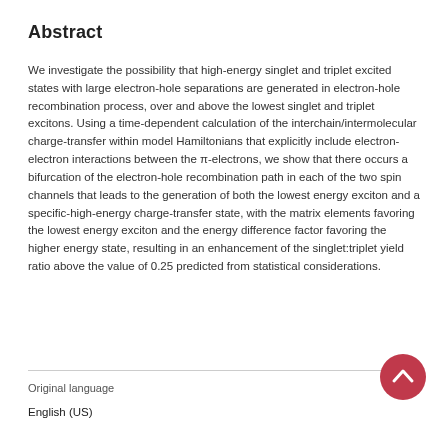Abstract
We investigate the possibility that high-energy singlet and triplet excited states with large electron-hole separations are generated in electron-hole recombination process, over and above the lowest singlet and triplet excitons. Using a time-dependent calculation of the interchain/intermolecular charge-transfer within model Hamiltonians that explicitly include electron-electron interactions between the π-electrons, we show that there occurs a bifurcation of the electron-hole recombination path in each of the two spin channels that leads to the generation of both the lowest energy exciton and a specific-high-energy charge-transfer state, with the matrix elements favoring the lowest energy exciton and the energy difference factor favoring the higher energy state, resulting in an enhancement of the singlet:triplet yield ratio above the value of 0.25 predicted from statistical considerations.
Original language
English (US)